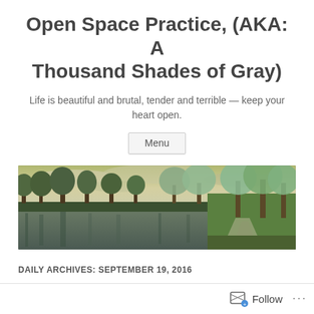Open Space Practice, (AKA: A Thousand Shades of Gray)
Life is beautiful and brutal, tender and terrible — keep your heart open.
Menu
[Figure (photo): Panoramic landscape photo showing a calm river or lake with trees reflected in the water, green grassy path on the right, overcast sky with yellow-tinted clouds in the background.]
DAILY ARCHIVES: SEPTEMBER 19, 2016